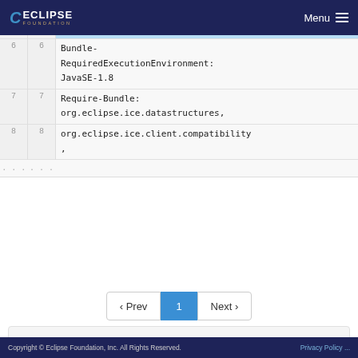ECLIPSE FOUNDATION  Menu
[Figure (screenshot): Code editor showing MANIFEST.MF file lines 6-8 with Bundle-RequiredExecutionEnvironment: JavaSE-1.8, Require-Bundle: org.eclipse.ice.datastructures, org.eclipse.ice.client.compatibility,]
‹ Prev  1  Next ›
Please register or sign in to comment
Copyright © Eclipse Foundation, Inc. All Rights Reserved.  Privacy Policy ...